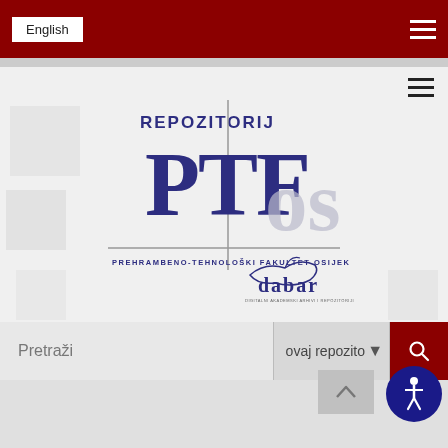English
[Figure (logo): REPOZITORIJ PTFos logo with PREHRAMBENO-TEHNOLOŠKI FAKULTET OSIJEK text and dabar logo]
Pretraži
ovaj repozito